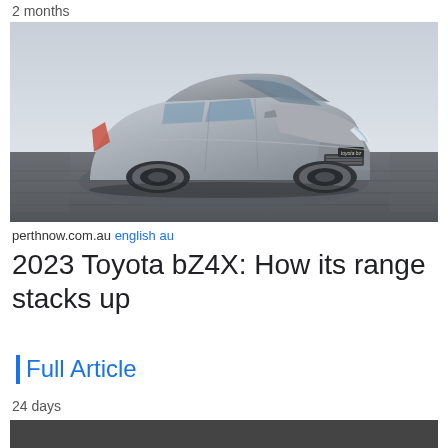2 months
[Figure (photo): A silver Toyota bZ4X electric SUV driving on a road with a blurred background, shot from the front-left three-quarter angle.]
perthnow.com.au english au
2023 Toyota bZ4X: How its range stacks up
Full Article
24 days
[Figure (photo): Partial dark/grey image at the bottom of the page, content not visible.]